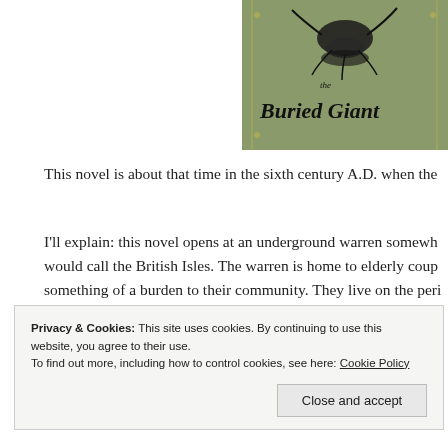[Figure (illustration): Book cover of 'The Buried Giant' by Kazuo Ishiguro. Olive/sage green background with decorative illustration of a figure or creature at top, and stylized hand-lettered title text 'the Buried Giant' in black calligraphic script. Ornamental golden chain/vine border elements.]
This novel is about that time in the sixth century A.D. when the
I'll explain: this novel opens at an underground warren somewh... would call the British Isles. The warren is home to elderly coup... something of a burden to their community. They live on the peri... warmth from the communal fire doesn't reach, so their little dug...
Privacy & Cookies: This site uses cookies. By continuing to use this website, you agree to their use.
To find out more, including how to control cookies, see here: Cookie Policy
Close and accept